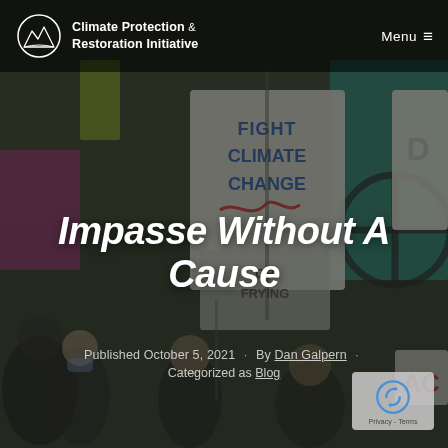[Figure (photo): Protesters at a climate rally holding signs including 'FIGHT CLIMATE CHANGE' and 'OR FRYING', with a teal banner and an Extinction Rebellion symbol visible in the background.]
Climate Protection & Restoration Initiative  Menu ≡
Impasse Without A Cause
Published October 5, 2021 · By Dan Galpern · Categorized as Blog